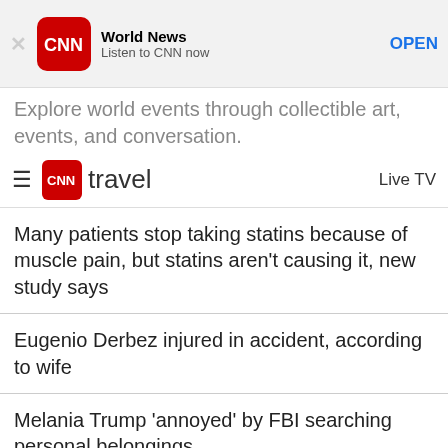[Figure (screenshot): CNN Breaking News app ad banner with CNN logo, 'World News', 'Listen to CNN now', and OPEN button]
Explore world events through collectible art, events, and conversation.
CNN travel  Live TV
Many patients stop taking statins because of muscle pain, but statins aren't causing it, new study says
Eugenio Derbez injured in accident, according to wife
Melania Trump 'annoyed' by FBI searching personal belongings
Watch Sen. Elizabeth Warren respond to American who already paid off his student loans
Last member of indigenous tribe dies in Brazil after resisting contact for decades